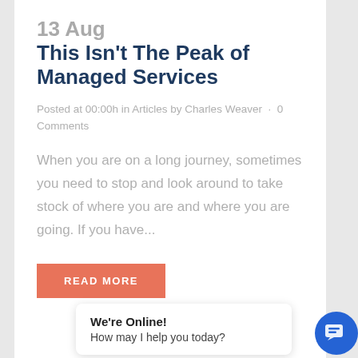13 Aug This Isn't The Peak of Managed Services
Posted at 00:00h in Articles by Charles Weaver · 0 Comments
When you are on a long journey, sometimes you need to stop and look around to take stock of where you are and where you are going. If you have...
READ MORE
We're Online!
How may I help you today?